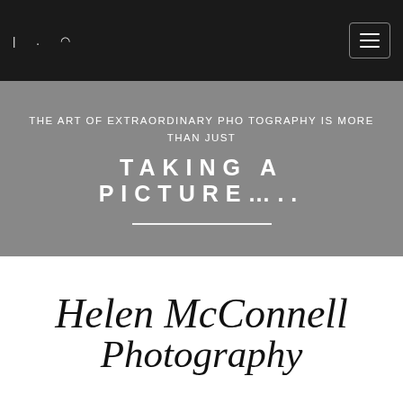Helen McConnell Photography logo and navigation
THE ART OF EXTRAORDINARY PHOTOGRAPHY IS MORE THAN JUST
TAKING A PICTURE…..
Helen McConnell Photography